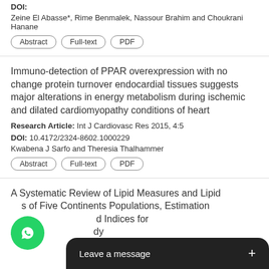DOI:
Zeine El Abasse*, Rime Benmalek, Nassour Brahim and Choukrani Hanane
Abstract | Full-text | PDF
Immuno-detection of PPAR overexpression with no change protein turnover endocardial tissues suggests major alterations in energy metabolism during ischemic and dilated cardiomyopathy conditions of heart
Research Article: Int J Cardiovasc Res 2015, 4:5
DOI: 10.4172/2324-8602.1000229
Kwabena J Sarfo and Theresia Thalhammer
Abstract | Full-text | PDF
A Systematic Review of Lipid Measures and Lipid s of Five Continents Populations, Estimation d Indices for Athe dy